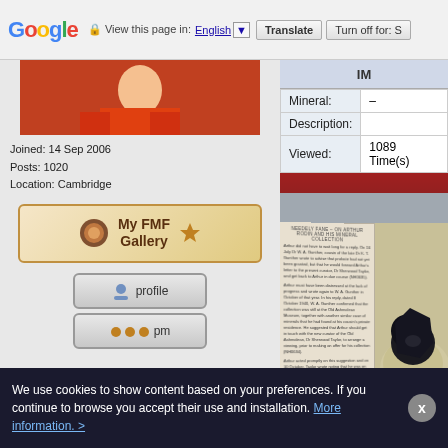Google | View this page in: English [▼] | Translate | Turn off for: S
[Figure (screenshot): User profile photo showing person in orange jacket]
Joined: 14 Sep 2006
Posts: 1020
Location: Cambridge
[Figure (infographic): My FMF Gallery banner with gem icons]
[Figure (screenshot): Profile button]
[Figure (screenshot): PM button]
| Field | Value |
| --- | --- |
| Mineral: | – |
| Description: |  |
| Viewed: | 1089 Time(s) |
[Figure (photo): Photo of open book page about Arthur Rodin mineral collection, alongside a dark mineral specimen on rock matrix]
We use cookies to show content based on your preferences. If you continue to browse you accept their use and installation. More information. >